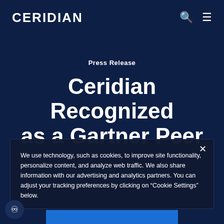CERIDIAN
Press Release
Ceridian Recognized as a Gartner Peer
We use technology, such as cookies, to improve site functionality, personalize content, and analyze web traffic. We also share information with our advertising and analytics partners. You can adjust your tracking preferences by clicking on “Cookie Settings” below.